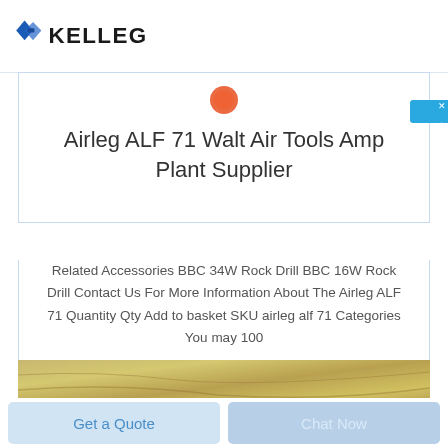[Figure (logo): KELLEG company logo with blue tie/bowtie icon and bold black KELLEG text]
Airleg ALF 71 Walt Air Tools Amp Plant Supplier
Related Accessories BBC 34W Rock Drill BBC 16W Rock Drill Contact Us For More Information About The Airleg ALF 71 Quantity Qty Add to basket SKU airleg alf 71 Categories You may 100
[Figure (photo): Rock or stone texture photograph strip]
Get a Quote
Chat Now